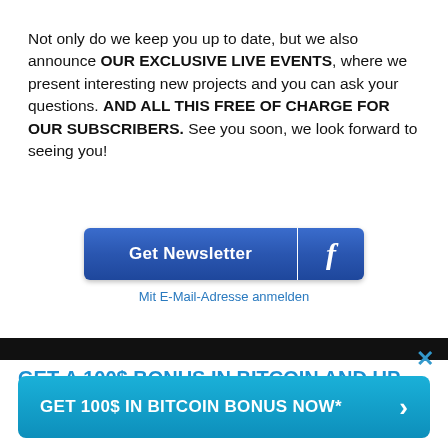Not only do we keep you up to date, but we also announce OUR EXCLUSIVE LIVE EVENTS, where we present interesting new projects and you can ask your questions. AND ALL THIS FREE OF CHARGE FOR OUR SUBSCRIBERS. See you soon, we look forward to seeing you!
[Figure (other): Blue 'Get Newsletter' button with Facebook logo icon, and 'Mit E-Mail-Adresse anmelden' label below]
GET A 100$ BONUS IN BITCOIN AND UP TO 36% APY! FREE REGISTRATION!
[Figure (other): Teal/cyan button with text 'GET 100$ IN BITCOIN BONUS NOW*' and a right-arrow chevron]